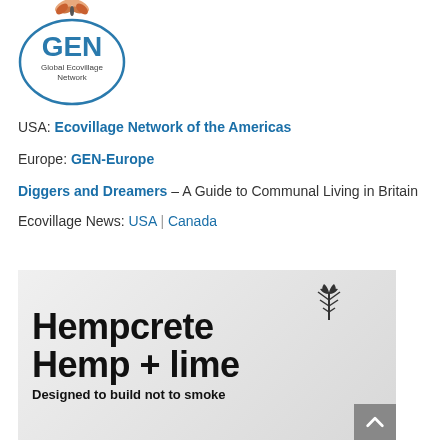[Figure (logo): GEN Global Ecovillage Network circular logo with butterfly on top]
USA: Ecovillage Network of the Americas
Europe: GEN-Europe
Diggers and Dreamers – A Guide to Communal Living in Britain
Ecovillage News: USA | Canada
[Figure (illustration): Hempcrete Hemp + lime – Designed to build not to smoke advertisement banner with hemp plant icon]